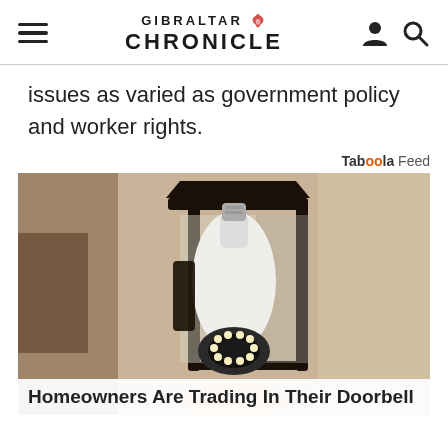GIBRALTAR CHRONICLE
issues as varied as government policy and worker rights.
Taboola Feed
[Figure (photo): Outdoor wall lantern with a security camera bulb installed inside it, mounted on a textured stucco wall]
Homeowners Are Trading In Their Doorbell